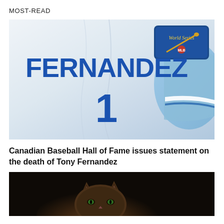MOST-READ
[Figure (photo): A white Toronto Blue Jays baseball jersey with 'FERNANDEZ' and the number 1 on the back in blue letters, with a World Series patch visible on the shoulder. A light blue cap is also partially visible.]
Canadian Baseball Hall of Fame issues statement on the death of Tony Fernandez
[Figure (photo): A dark photograph showing the head and ears of what appears to be a cat or small wild feline animal, with a very dark background.]